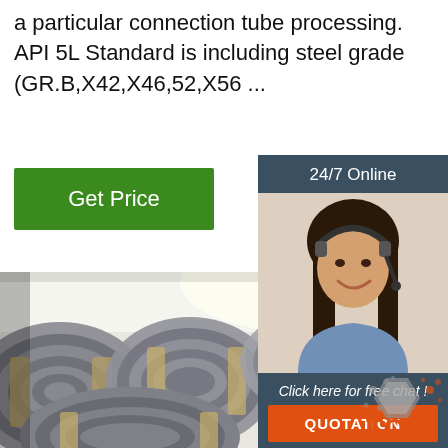a particular connection tube processing. API 5L Standard is including steel grade (GR.B,X42,X46,52,X56 ...
[Figure (other): Green 'Get Price' button]
[Figure (other): Sidebar widget with '24/7 Online' header, photo of a female customer service representative wearing a headset, 'Click here for free chat!' text, and orange QUOTATION button]
[Figure (photo): Photo of stacked steel wire rod coils bundled with tape in a warehouse, viewed from the side showing multiple large coil bundles]
[Figure (logo): Orange and grey 'TOP' logo in the bottom right corner]